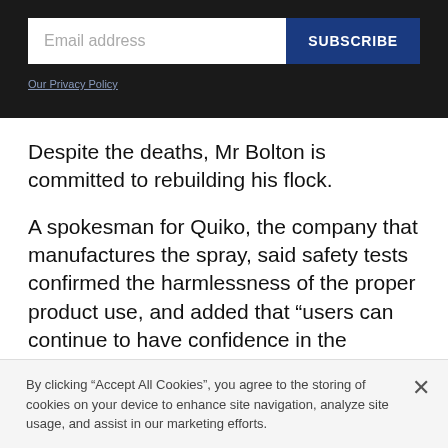[Figure (screenshot): Email subscription form with a white input field labeled 'Email address' and a dark blue 'SUBSCRIBE' button on a dark background, with an 'Our Privacy Policy' link below.]
Despite the deaths, Mr Bolton is committed to rebuilding his flock.
A spokesman for Quiko, the company that manufactures the spray, said safety tests confirmed the harmlessness of the proper product use, and added that “users can continue to have confidence in the
By clicking “Accept All Cookies”, you agree to the storing of cookies on your device to enhance site navigation, analyze site usage, and assist in our marketing efforts.